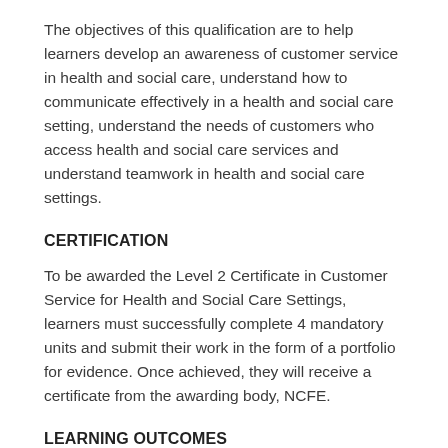The objectives of this qualification are to help learners develop an awareness of customer service in health and social care, understand how to communicate effectively in a health and social care setting, understand the needs of customers who access health and social care services and understand teamwork in health and social care settings.
CERTIFICATION
To be awarded the Level 2 Certificate in Customer Service for Health and Social Care Settings, learners must successfully complete 4 mandatory units and submit their work in the form of a portfolio for evidence. Once achieved, they will receive a certificate from the awarding body, NCFE.
LEARNING OUTCOMES